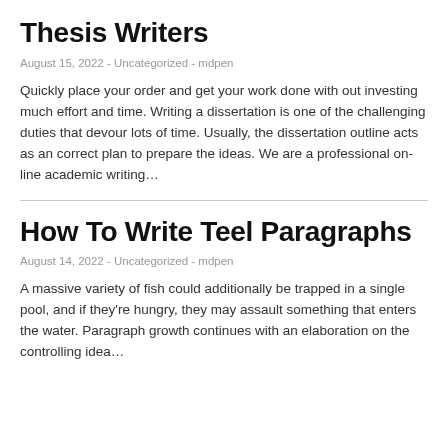Thesis Writers
August 15, 2022 - Uncategorized - mdpen
Quickly place your order and get your work done with out investing much effort and time. Writing a dissertation is one of the challenging duties that devour lots of time. Usually, the dissertation outline acts as an correct plan to prepare the ideas. We are a professional on-line academic writing…
How To Write Teel Paragraphs
August 14, 2022 - Uncategorized - mdpen
A massive variety of fish could additionally be trapped in a single pool, and if they're hungry, they may assault something that enters the water. Paragraph growth continues with an elaboration on the controlling idea…